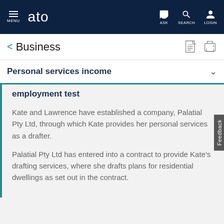ATO - MENU | ASK | SEARCH | LOGIN
< Business
Personal services income
employment test
Kate and Lawrence have established a company, Palatial Pty Ltd, through which Kate provides her personal services as a drafter.
Palatial Pty Ltd has entered into a contract to provide Kate's drafting services, where she drafts plans for residential dwellings as set out in the contract.